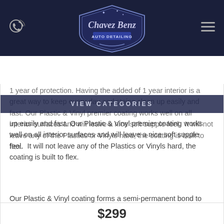[Figure (logo): Chavez Benz Auto Detailing shield logo in silver/blue tones]
VIEW CATEGORIES
1 year of protection. Having the added of 1 year interior is a great way to keep every day and stains clean up easily and fast. Our Plastic & Vinyl premier coating works well on all interior surfaces and will leave a nice soft supple feel. It will not leave any of the Plastics or Vinyls hard, the coating is built to flex.
Our Plastic & Vinyl coating forms a semi-permanent bond to your vehicle's plastic & vinyl, is fully protected from highly damaging contaminants, and will not be removed by harsh chemicals once fully cured. Our Ultra Hydrophobic coating provides superior water, stain, and grease repellency, easily exceeding any poly sealants exponentially.
$299